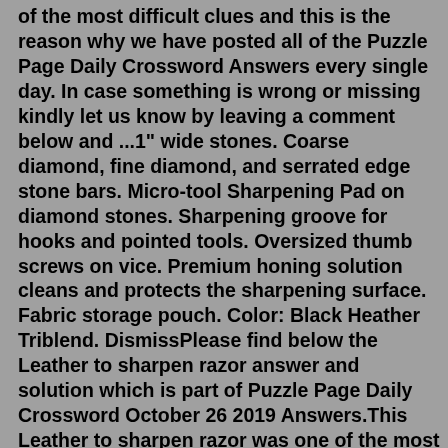of the most difficult clues and this is the reason why we have posted all of the Puzzle Page Daily Crossword Answers every single day. In case something is wrong or missing kindly let us know by leaving a comment below and ...1" wide stones. Coarse diamond, fine diamond, and serrated edge stone bars. Micro-tool Sharpening Pad on diamond stones. Sharpening groove for hooks and pointed tools. Oversized thumb screws on vice. Premium honing solution cleans and protects the sharpening surface. Fabric storage pouch. Color: Black Heather Triblend. DismissPlease find below the Leather to sharpen razor answer and solution which is part of Puzzle Page Daily Crossword October 26 2019 Answers.This Leather to sharpen razor was one of the most difficult clues and this is the reason why we have posted all of the Puzzle Page Daily Crossword Answers every single day. In case something is wrong or missing kindly let us know by leaving a comment below and ...Below you will be able to find the answer